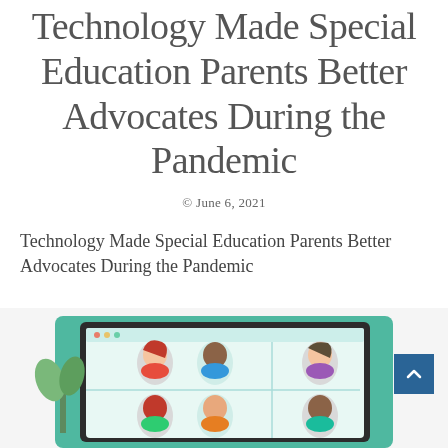Technology Made Special Education Parents Better Advocates During the Pandemic
© June 6, 2021
Technology Made Special Education Parents Better Advocates During the Pandemic
[Figure (illustration): Illustration of a video conference screen showing 6 diverse cartoon people in a grid layout, with a teal/green background and a plant on the left side]